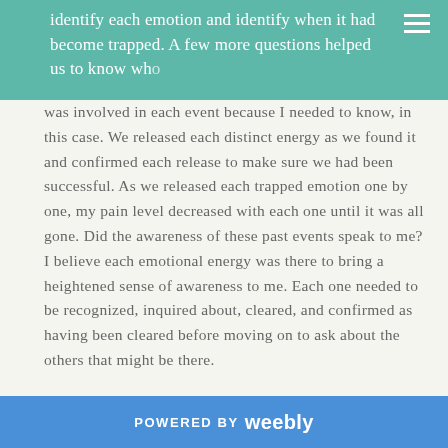identify each emotion and identify when it had become trapped. A few more questions helped us to know who
was involved in each event because I needed to know, in this case. We released each distinct energy as we found it and confirmed each release to make sure we had been successful. As we released each trapped emotion one by one, my pain level decreased with each one until it was all gone. Did the awareness of these past events speak to me? I believe each emotional energy was there to bring a heightened sense of awareness to me. Each one needed to be recognized, inquired about, cleared, and confirmed as having been cleared before moving on to ask about the others that might be there.
3. The Emotion Code is a very precise method. First, we recognize God and ask for his help. Then we muscle test to identify the trapped emotion using the Chart of Emotions. Next we ask if anything else needs to be discovered before releasing the emotion. If the answer is yes, we get more details about what happened when
POWERED BY weebly